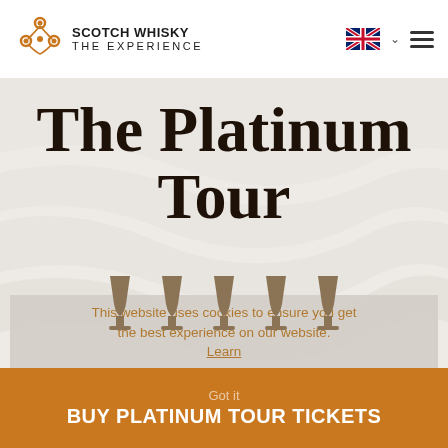SCOTCH WHISKY THE EXPERIENCE
The Platinum Tour
[Figure (illustration): Five whisky glass silhouettes in taupe/brown color arranged in a row]
This website uses cookies to ensure you get the best experience on our website. Learn more
A whisky lover's dream
Got it
BUY PLATINUM TOUR TICKETS